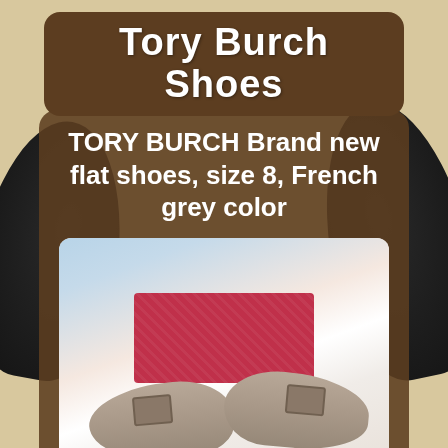Tory Burch Shoes
TORY BURCH Brand new flat shoes, size 8, French grey color
[Figure (photo): Photo of a pair of Tory Burch flat shoes in French grey color, displayed on top of a red Tory Burch branded shoe box, with a blue and pink background. eBay watermark visible at bottom.]
ebay